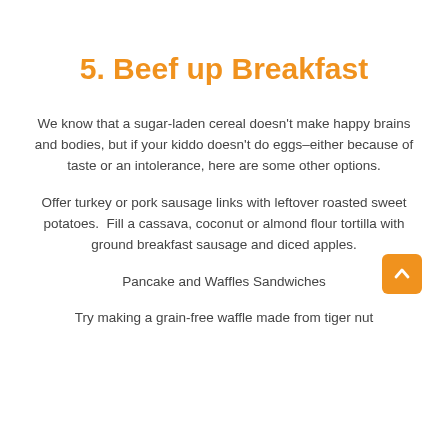5. Beef up Breakfast
We know that a sugar-laden cereal doesn't make happy brains and bodies, but if your kiddo doesn't do eggs–either because of taste or an intolerance, here are some other options.
Offer turkey or pork sausage links with leftover roasted sweet potatoes.  Fill a cassava, coconut or almond flour tortilla with ground breakfast sausage and diced apples.
Pancake and Waffles Sandwiches
Try making a grain-free waffle made from tiger nut